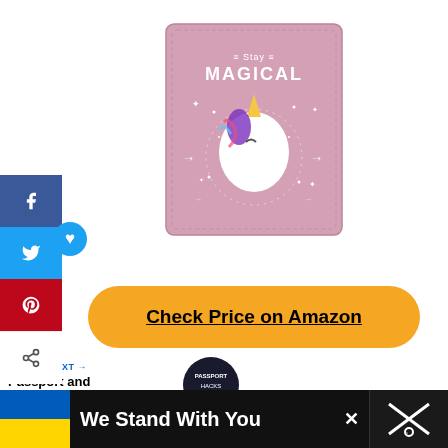[Figure (photo): Pink passport cover with unicorn design and text 'Stay MAGICAL']
[Figure (infographic): Social media sharing sidebar with Facebook, Twitter, Pinterest, and share buttons]
Check Price on Amazon
WHAT'S NEXT → Passport and Visa
[Figure (logo): Passport Hacks dark circular logo]
ADVERTISEMENT
We Stand With You